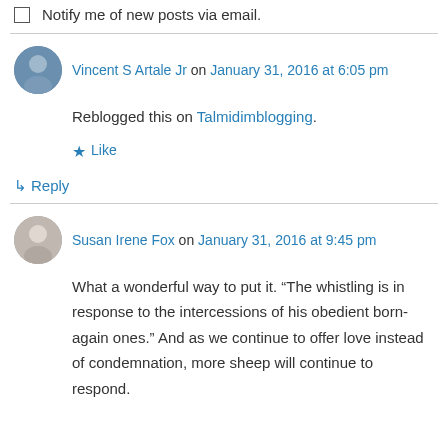Notify me of new posts via email.
Vincent S Artale Jr on January 31, 2016 at 6:05 pm
Reblogged this on Talmidimblogging.
Like
Reply
Susan Irene Fox on January 31, 2016 at 9:45 pm
What a wonderful way to put it. “The whistling is in response to the intercessions of his obedient born-again ones.” And as we continue to offer love instead of condemnation, more sheep will continue to respond.